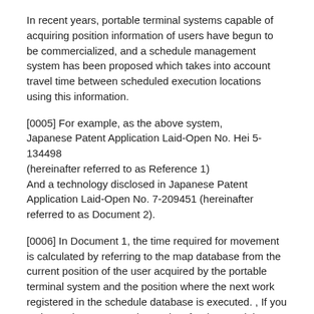In recent years, portable terminal systems capable of acquiring position information of users have begun to be commercialized, and a schedule management system has been proposed which takes into account travel time between scheduled execution locations using this information.
[0005] For example, as the above system, Japanese Patent Application Laid-Open No. Hei 5-134498 (hereinafter referred to as Reference 1) And a technology disclosed in Japanese Patent Application Laid-Open No. 7-209451 (hereinafter referred to as Document 2).
[0006] In Document 1, the time required for movement is calculated by referring to the map database from the current position of the user acquired by the portable terminal system and the position where the next work registered in the schedule database is executed. , If you estimate that you won't be on time for the next job, A system for automatically changing the start time of the next task is disclosed.